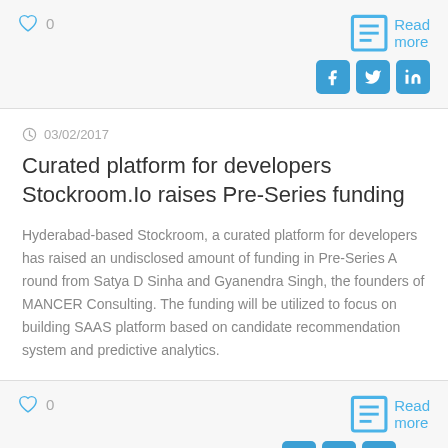[Figure (other): Top action bar with heart/like icon showing 0, Read more link, and social sharing buttons for Facebook, Twitter, LinkedIn]
03/02/2017
Curated platform for developers Stockroom.Io raises Pre-Series funding
Hyderabad-based Stockroom, a curated platform for developers has raised an undisclosed amount of funding in Pre-Series A round from Satya D Sinha and Gyanendra Singh, the founders of MANCER Consulting. The funding will be utilized to focus on building SAAS platform based on candidate recommendation system and predictive analytics.
[Figure (other): Bottom action bar with heart/like icon showing 0, Read more link, social sharing buttons for Facebook, Twitter, LinkedIn, and an up/chevron arrow]